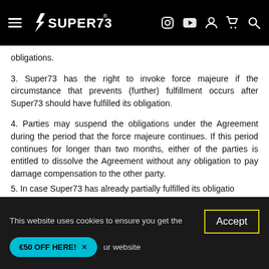Super73 website header with navigation menu, logo, and icons
obligations.
3. Super73 has the right to invoke force majeure if the circumstance that prevents (further) fulfillment occurs after Super73 should have fulfilled its obligation.
4. Parties may suspend the obligations under the Agreement during the period that the force majeure continues. If this period continues for longer than two months, either of the parties is entitled to dissolve the Agreement without any obligation to pay damage compensation to the other party.
5. In case Super73 has already partially fulfilled its obligation...
This website uses cookies to ensure you get the best experience on our website
Accept
€50 OFF HERE!